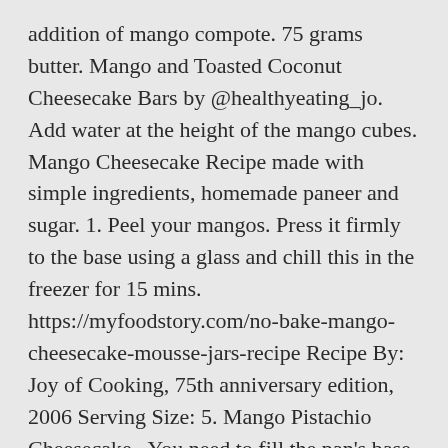addition of mango compote. 75 grams butter. Mango and Toasted Coconut Cheesecake Bars by @healthyeating_jo. Add water at the height of the mango cubes. Mango Cheesecake Recipe made with simple ingredients, homemade paneer and sugar. 1. Peel your mangos. Press it firmly to the base using a glass and chill this in the freezer for 15 mins. https://myfoodstory.com/no-bake-mango-cheesecake-mousse-jars-recipe Recipe By: Joy of Cooking, 75th anniversary edition, 2006 Serving Size: 5. Mango Pistachio Cheesecake . You need to fill the pan's base with the biscuit crumbs. Gently heat orange juice and sugar in a pan with the vanilla bean or extract. 500g: